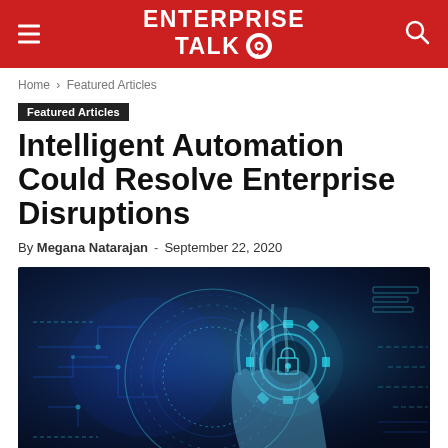ENTERPRISE TALK
Home › Featured Articles
Featured Articles
Intelligent Automation Could Resolve Enterprise Disruptions
By Megana Natarajan - September 22, 2020
[Figure (photo): A human hand holding a glowing blue digital gear/cog icon with futuristic circuit board and holographic UI elements in the background, representing intelligent automation technology]